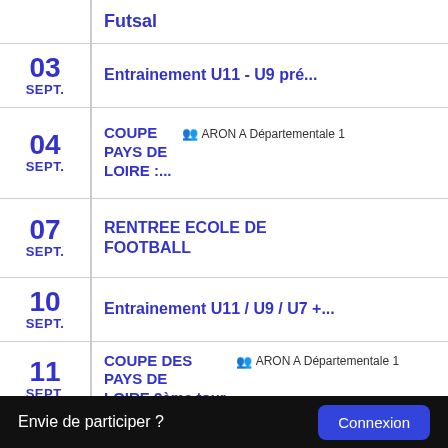Futsal
03 SEPT. — Entrainement U11 - U9 pré...
04 SEPT. — COUPE PAYS DE LOIRE :... | ARON A Départementale 1
07 SEPT. — RENTREE ECOLE DE FOOTBALL
10 SEPT. — Entrainement U11 / U9 / U7 +...
11 SEPT. — COUPE DES PAYS DE LOIRE 2ème tour | ARON A Départementale 1
Envie de participer ? Connexion